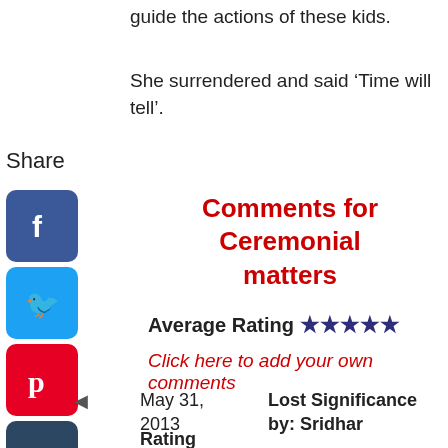guide the actions of these kids.
She surrendered and said ‘Time will tell’.
Share
[Figure (illustration): Social media share icons column: Facebook (blue), Twitter (blue), Pinterest (red), Tumblr (dark blue), Reddit (orange), WhatsApp (green)]
Comments for Ceremonial matters
Average Rating ★★★★★
Click here to add your own comments
May 31, 2013
Lost Significance
by: Sridhar
Rating
★★★★★ This reminds of the annual ceremonies which were